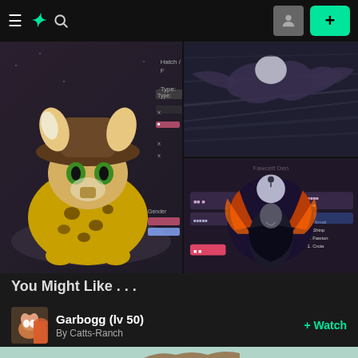DeviantArt navigation bar with hamburger menu, logo, search icon, user avatar, and + button
[Figure (screenshot): Left: illustrated fantasy cat creature with leopard spots and hat on dark background. Right top: dark action scene with feathered/winged creature. Right bottom: dark fantasy character with orange flame-like wings in circular moon framing with character sheet stats.]
You Might Like . . .
Garbogg (lv 50) By Catts-Ranch + Watch
[Figure (screenshot): Bottom preview of a reddish-brown creature on light teal/mint background]